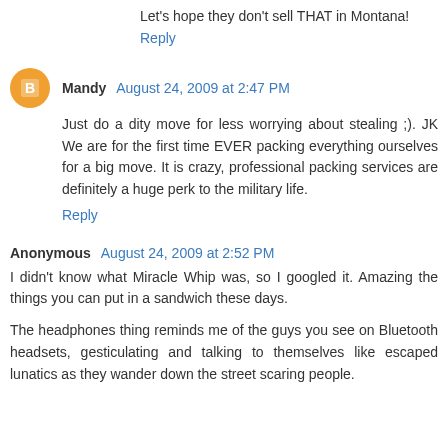Let's hope they don't sell THAT in Montana!
Reply
Mandy August 24, 2009 at 2:47 PM
Just do a dity move for less worrying about stealing ;). JK We are for the first time EVER packing everything ourselves for a big move. It is crazy, professional packing services are definitely a huge perk to the military life.
Reply
Anonymous August 24, 2009 at 2:52 PM
I didn't know what Miracle Whip was, so I googled it. Amazing the things you can put in a sandwich these days.
The headphones thing reminds me of the guys you see on Bluetooth headsets, gesticulating and talking to themselves like escaped lunatics as they wander down the street scaring people.